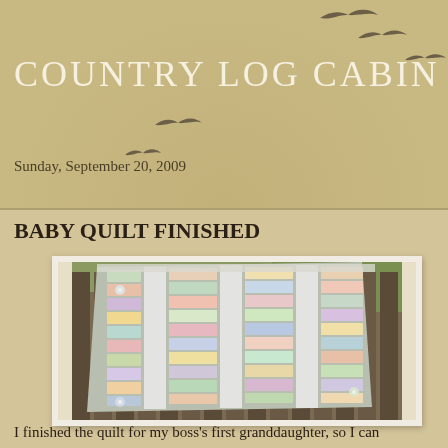COUNTRY LOG CABIN
Sunday, September 20, 2009
BABY QUILT FINISHED
[Figure (photo): A pastel patchwork baby quilt with vertical strips of colorful squares separated by white sashing, draped over a wooden fence outdoors. Small flower appliques visible in corners.]
I finished the quilt for my boss's first granddaughter, so I can